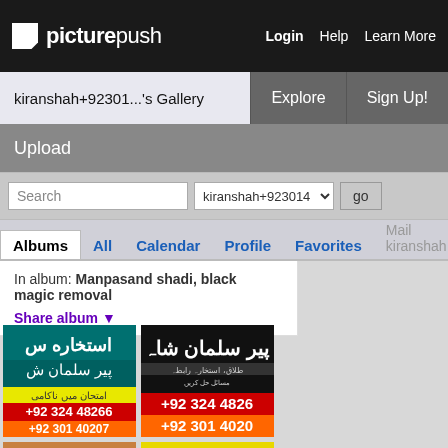picturepush — Login  Help  Learn More
kiranshah+92301...'s Gallery
Explore   Sign Up!
Upload
Search  kiranshah+923014  go
Albums  All  Calendar  Profile  Favorites  Mail kiranshah
In album: Manpasand shadi, black magic removal
Share album ▼
[Figure (photo): Urdu text advertisement with phone numbers +92 324 48266 and +92 301 40207]
[Figure (photo): Urdu text advertisement Peer Salman Shah with phone numbers +92 324 4826 and +92 301 4020]
[Figure (photo): Photo of hands with ring - Pier Salman Shah advertisement with number 020706 +92 3]
[Figure (photo): Salman Shah advertisement - TE MARRIAGE, COURT CASE PROBLEM, ALIST, ALIST, ALIST, OBLEM SOLUTION, Love Marriage, 706]